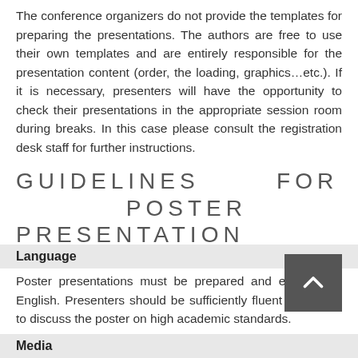The conference organizers do not provide the templates for preparing the presentations. The authors are free to use their own templates and are entirely responsible for the presentation content (order, the loading, graphics…etc.). If it is necessary, presenters will have the opportunity to check their presentations in the appropriate session room during breaks. In this case please consult the registration desk staff for further instructions.
GUIDELINES FOR POSTER PRESENTATION
Language
Poster presentations must be prepared and exposed in English. Presenters should be sufficiently fluent in English to discuss the poster on high academic standards.
Media